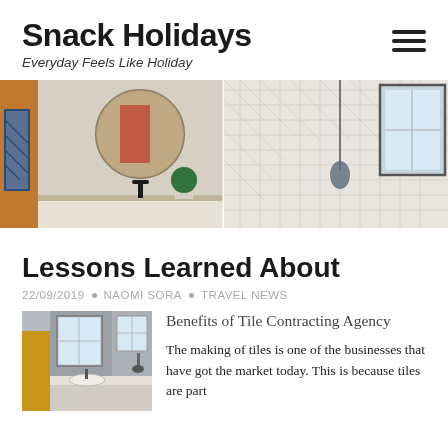Snack Holidays
Everyday Feels Like Holiday
[Figure (photo): Two bathroom interior photos side by side: left shows a round mirror above a vanity with blue towels and a small green topiary; right shows herringbone tile wall with a mirror and hanging necklace near a window.]
Lessons Learned About
22/09/2019 • NAOMI SORA • TRAVEL NEWS
[Figure (photo): Bathroom interior thumbnail showing sink, mirror, yellow cabinet, and shower area with grey walls.]
Benefits of Tile Contracting Agency
The making of tiles is one of the businesses that have got the market today. This is because tiles are part